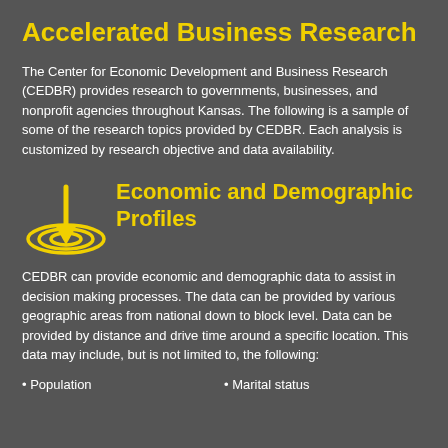Accelerated Business Research
The Center for Economic Development and Business Research (CEDBR) provides research to governments, businesses, and nonprofit agencies throughout Kansas. The following is a sample of some of the research topics provided by CEDBR. Each analysis is customized by research objective and data availability.
[Figure (illustration): Yellow target/bullseye icon with a downward arrow]
Economic and Demographic Profiles
CEDBR can provide economic and demographic data to assist in decision making processes. The data can be provided by various geographic areas from national down to block level. Data can be provided by distance and drive time around a specific location. This data may include, but is not limited to, the following:
• Population
• Marital status